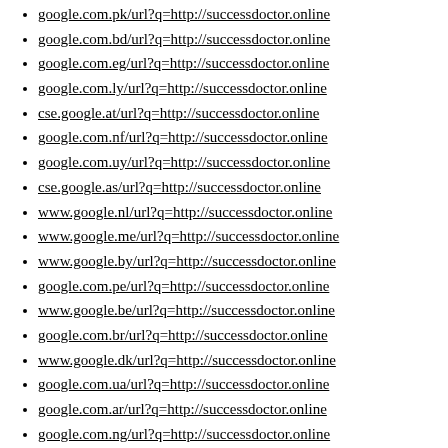google.com.pk/url?q=http://successdoctor.online
google.com.bd/url?q=http://successdoctor.online
google.com.eg/url?q=http://successdoctor.online
google.com.ly/url?q=http://successdoctor.online
cse.google.at/url?q=http://successdoctor.online
google.com.nf/url?q=http://successdoctor.online
google.com.uy/url?q=http://successdoctor.online
cse.google.as/url?q=http://successdoctor.online
www.google.nl/url?q=http://successdoctor.online
www.google.me/url?q=http://successdoctor.online
www.google.by/url?q=http://successdoctor.online
google.com.pe/url?q=http://successdoctor.online
www.google.be/url?q=http://successdoctor.online
google.com.br/url?q=http://successdoctor.online
www.google.dk/url?q=http://successdoctor.online
google.com.ua/url?q=http://successdoctor.online
google.com.ar/url?q=http://successdoctor.online
google.com.ng/url?q=http://successdoctor.online
google.com.gh/url?q=http://successdoctor.online